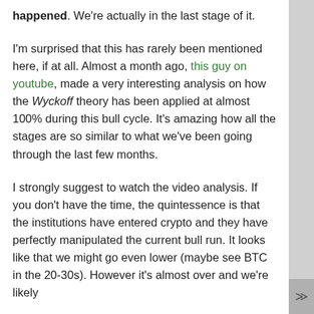happened. We're actually in the last stage of it.
I'm surprised that this has rarely been mentioned here, if at all. Almost a month ago, this guy on youtube, made a very interesting analysis on how the Wyckoff theory has been applied at almost 100% during this bull cycle. It's amazing how all the stages are so similar to what we've been going through the last few months.
I strongly suggest to watch the video analysis. If you don't have the time, the quintessence is that the institutions have entered crypto and they have perfectly manipulated the current bull run. It looks like that we might go even lower (maybe see BTC in the 20-30s). However it's almost over and we're likely entering a big bull rally right after that.